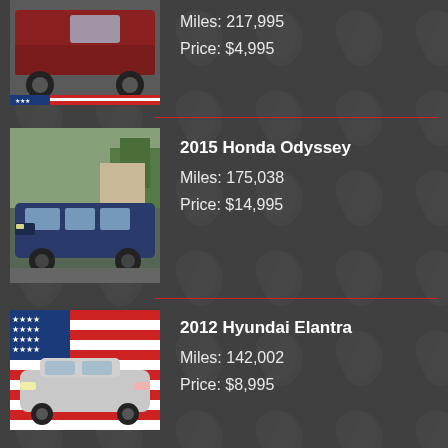[Figure (photo): Red pickup truck photo (partial, top cropped) with American flag border at bottom]
Miles: 217,995
Price: $4,995
[Figure (photo): 2015 Honda Odyssey - dark blue minivan parked outdoors]
2015 Honda Odyssey
Miles: 175,038
Price: $14,995
[Figure (photo): 2012 Hyundai Elantra - silver sedan with American flag border]
2012 Hyundai Elantra
Miles: 142,002
Price: $8,995
2016 Kia Sorento
Miles: 134,247
Price: $13,995
2013 Lexus RX 350
Miles: 106,306
Price: $21,995
2013 Lexus RX 450h
Miles: 154,316